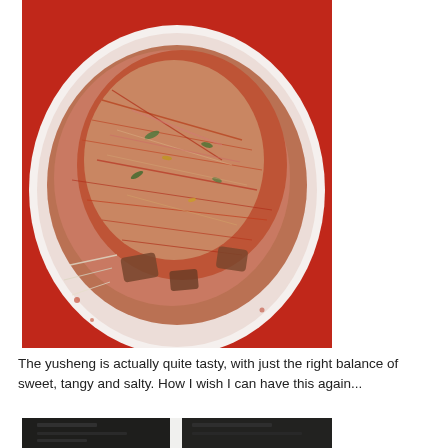[Figure (photo): A white plate filled with yusheng (Chinese raw fish salad) with colorful shredded vegetables, noodles, and sauces, served on a red tablecloth background.]
The yusheng is actually quite tasty, with just the right balance of sweet, tangy and salty. How I wish I can have this again...
[Figure (photo): Partially visible photo at bottom of page, appears dark with some bright elements, possibly another food or restaurant scene.]